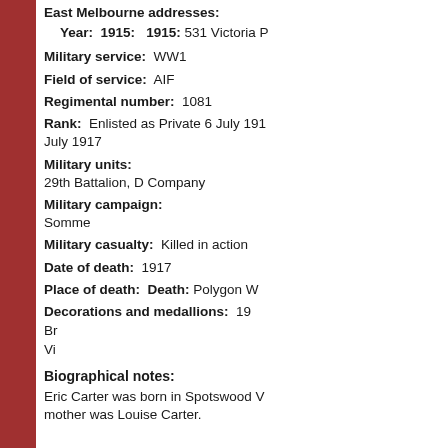East Melbourne addresses: Year: 1915: 1915: 531 Victoria
Military service: WW1
Field of service: AIF
Regimental number: 1081
Rank: Enlisted as Private 6 July 19... July 1917
Military units: 29th Battalion, D Company
Military campaign: Somme
Military casualty: Killed in action
Date of death: 1917
Place of death: Death: Polygon W...
Decorations and medallions: 19... Br... Vi...
Biographical notes:
Eric Carter was born in Spotswood V... mother was Louise Carter.